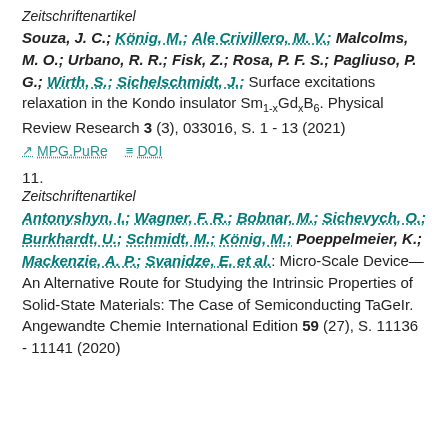Zeitschriftenartikel
Souza, J. C.; König, M.; Ale Crivillero, M. V.; Malcolms, M. O.; Urbano, R. R.; Fisk, Z.; Rosa, P. F. S.; Pagliuso, P. G.; Wirth, S.; Sichelschmidt, J.: Surface excitations relaxation in the Kondo insulator Sm1-xGdxB6. Physical Review Research 3 (3), 033016, S. 1 - 13 (2021)
MPG.PuRe   DOI
11.
Zeitschriftenartikel
Antonyshyn, I.; Wagner, F. R.; Bobnar, M.; Sichevych, O.; Burkhardt, U.; Schmidt, M.; König, M.; Poeppelmeier, K.; Mackenzie, A. P.; Svanidze, E. et al.: Micro-Scale Device—An Alternative Route for Studying the Intrinsic Properties of Solid-State Materials: The Case of Semiconducting TaGeIr. Angewandte Chemie International Edition 59 (27), S. 11136 - 11141 (2020)